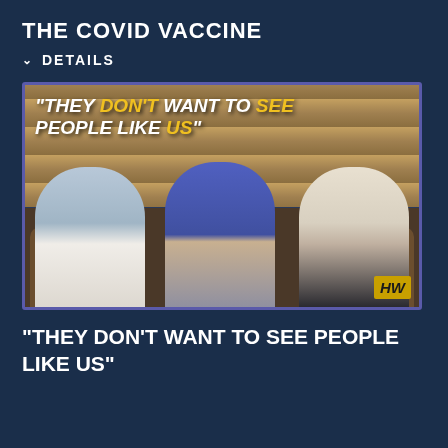THE COVID VACCINE
DETAILS
[Figure (photo): Screenshot of a video thumbnail showing three women seated in chairs against a wood-slat background wall. An overlaid quote reads: "THEY DON'T WANT TO SEE PEOPLE LIKE US" with some words in yellow. A logo 'HW' appears in the bottom right corner.]
"THEY DON'T WANT TO SEE PEOPLE LIKE US"